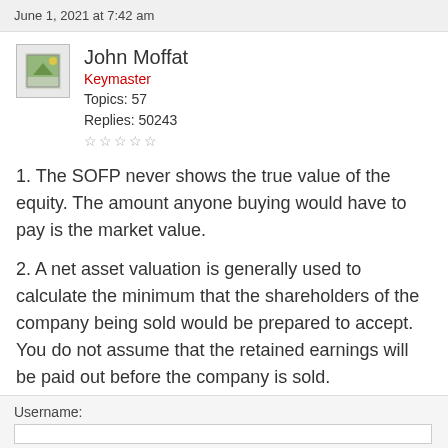June 1, 2021 at 7:42 am
John Moffat
Keymaster
Topics: 57
Replies: 50243
☆☆☆☆☆
1. The SOFP never shows the true value of the equity. The amount anyone buying would have to pay is the market value.
2. A net asset valuation is generally used to calculate the minimum that the shareholders of the company being sold would be prepared to accept. You do not assume that the retained earnings will be paid out before the company is sold.
Username: